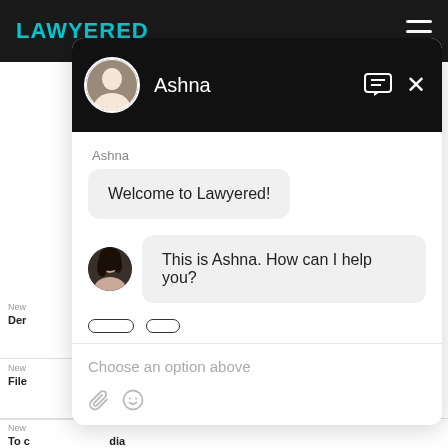[Figure (screenshot): Lawyered website with chat widget overlay. The background shows the Lawyered website with a dark top navigation bar and the cyan 'LAWYERED' logo, plus partially visible content rows. Overlaid is a chat widget with a black header showing a profile photo and name 'Ashna', chat message icon and close button. The chat body shows: sender name 'Ashna', a welcome bubble 'Welcome to Lawyered!', a second bubble with avatar 'This is Ashna. How can I help you?', two rounded option buttons, a divider, placeholder text 'Choose an option above', and footer icons for attachment and emoji.]